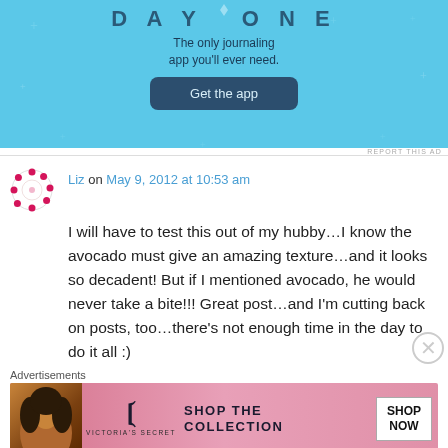[Figure (screenshot): Day One journaling app advertisement with light blue background, subtitle 'The only journaling app you'll ever need.' and a dark blue 'Get the app' button]
REPORT THIS AD
Liz on May 9, 2012 at 10:53 am
I will have to test this out of my hubby…I know the avocado must give an amazing texture…and it looks so decadent! But if I mentioned avocado, he would never take a bite!!! Great post…and I'm cutting back on posts, too…there's not enough time in the day to do it all :)
Advertisements
[Figure (screenshot): Victoria's Secret advertisement with pink background showing 'SHOP THE COLLECTION' text and 'SHOP NOW' button, with VS logo and model photo on left]
REPORT THIS AD